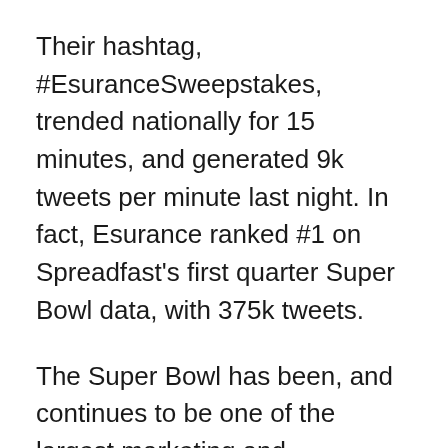Their hashtag, #EsuranceSweepstakes, trended nationally for 15 minutes, and generated 9k tweets per minute last night. In fact, Esurance ranked #1 on Spreadfast's first quarter Super Bowl data, with 375k tweets.
The Super Bowl has been, and continues to be one of the largest marketing and advertising opportunities for companies advertising in the US. Being different and coming up with new and engaging ideas is the challenge facing these brands year after year, and with all that competition, this list was only able to mention a few of the best, most buzz-worthy campaigns. Check out other Super